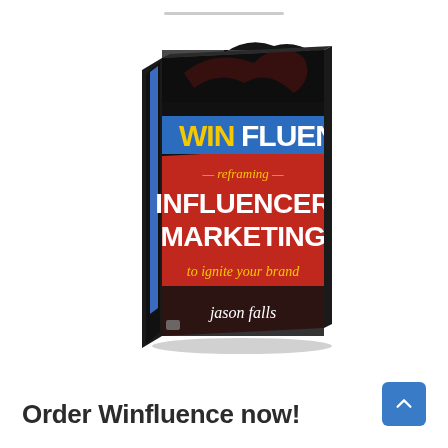[Figure (illustration): Book cover of Winfluence by Jason Falls - a book titled 'Winfluence: reframing Influencer Marketing to ignite your brand' shown in 3D perspective with a black and red cover featuring the title in bold text, a blue banner with yellow WIN text, and the author name jason falls at the bottom.]
Order Winfluence now!